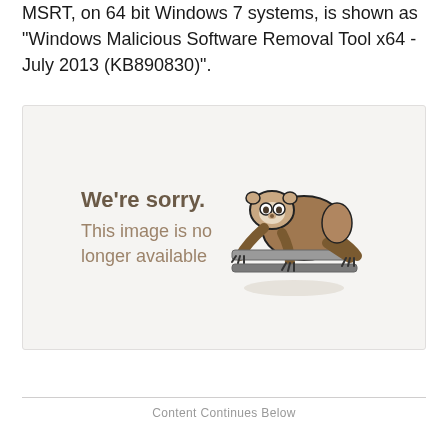MSRT, on 64 bit Windows 7 systems, is shown as "Windows Malicious Software Removal Tool x64 - July 2013 (KB890830)".
[Figure (illustration): Image unavailable placeholder showing a sloth hanging on a bar with text 'We're sorry. This image is no longer available']
Content Continues Below